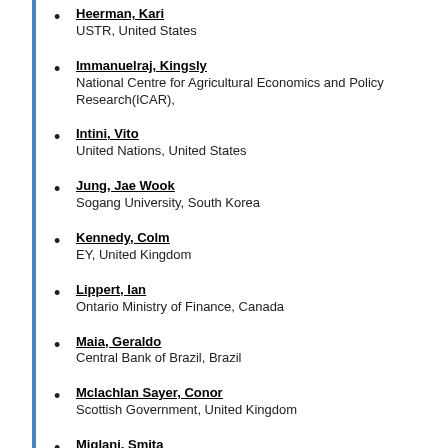Heerman, Kari
USTR, United States
Immanuelraj, Kingsly
National Centre for Agricultural Economics and Policy Research(ICAR),
Intini, Vito
United Nations, United States
Jung, Jae Wook
Sogang University, South Korea
Kennedy, Colm
EY, United Kingdom
Lippert, Ian
Ontario Ministry of Finance, Canada
Maia, Geraldo
Central Bank of Brazil, Brazil
Mclachlan Sayer, Conor
Scottish Government, United Kingdom
Miglani, Smita
Jawaharlal Nehru University, India
Miller-Tait, Evan
Government of Alberta, Canada
Mitkova, Veronika